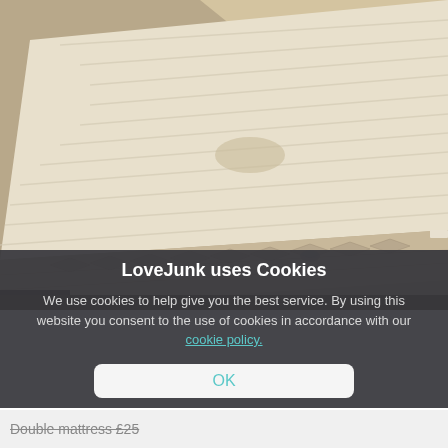[Figure (photo): A white/cream double mattress propped at an angle in a room, showing quilted sides and a stained top surface.]
LoveJunk uses Cookies
We use cookies to help give you the best service. By using this website you consent to the use of cookies in accordance with our cookie policy.
OK
Double mattress £25